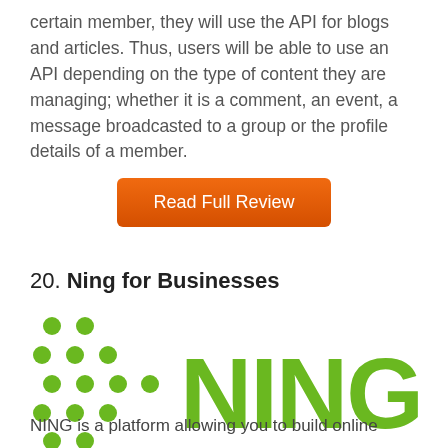certain member, they will use the API for blogs and articles. Thus, users will be able to use an API depending on the type of content they are managing; whether it is a comment, an event, a message broadcasted to a group or the profile details of a member.
[Figure (other): Orange rounded rectangle button with white text 'Read Full Review']
20. Ning for Businesses
[Figure (logo): NING logo: green dot-grid pattern on left and large green 'NING' text on right]
NING is a platform allowing you to build online